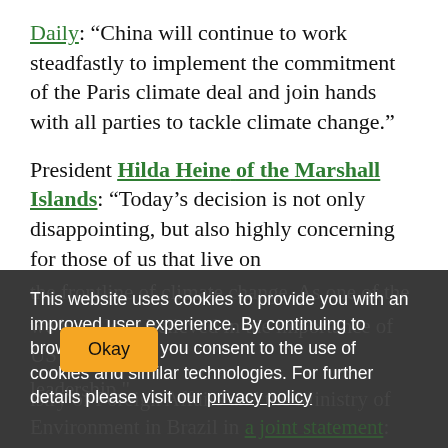Daily: "China will continue to work steadfastly to implement the commitment of the Paris climate deal and join hands with all parties to tackle climate change."
President Hilda Heine of the Marshall Islands: "Today's decision is not only disappointing, but also highly concerning for those of us that live on
This website uses cookies to provide you with an improved user experience. By continuing to browse this site, you consent to the use of cookies and similar technologies. For further details please visit our privacy policy
Okay
istry of Foreign Affairs and the Ministry of Environment in Brazil in a joint statement: